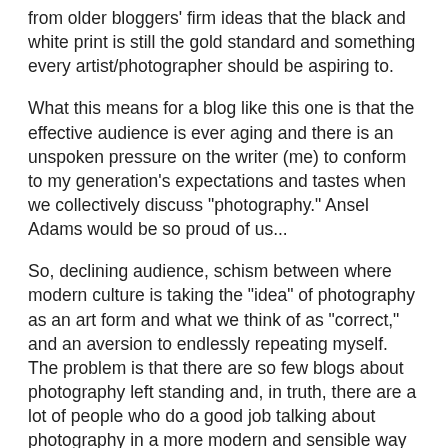from older bloggers' firm ideas that the black and white print is still the gold standard and something every artist/photographer should be aspiring to.
What this means for a blog like this one is that the effective audience is ever aging and there is an unspoken pressure on the writer (me) to conform to my generation's expectations and tastes when we collectively discuss "photography." Ansel Adams would be so proud of us...
So, declining audience, schism between where modern culture is taking the "idea" of photography as an art form and what we think of as "correct," and an aversion to endlessly repeating myself. The problem is that there are so few blogs about photography left standing and, in truth, there are a lot of people who do a good job talking about photography in a more modern and sensible way on YouTube and other video sharing channels. Someone mentioned that I could transition to YouTube successfully and I'm in general agreement but I'd be starting over from scratch to build a new audience since my general audience and age cohort grew up reading the printed word and seems to prefer to get their